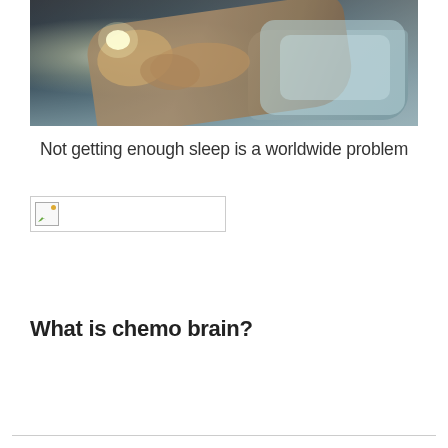[Figure (photo): Overhead view of a person lying in bed using a phone with bright light in a dark room with rumpled light blue bedding]
Not getting enough sleep is a worldwide problem
[Figure (other): Broken/missing image placeholder with icon showing a document with a small landscape thumbnail]
What is chemo brain?